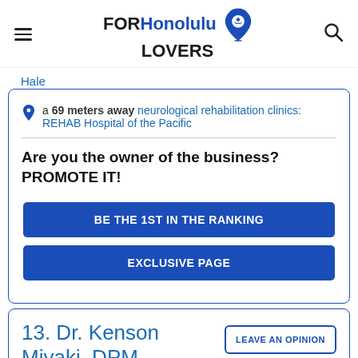FORHonolulu LOVERS
Hale
a 69 meters away neurological rehabilitation clinics: REHAB Hospital of the Pacific
Are you the owner of the business? PROMOTE IT!
BE THE 1ST IN THE RANKING
EXCLUSIVE PAGE
13. Dr. Kenson Miyaki, DPM
LEAVE AN OPINION